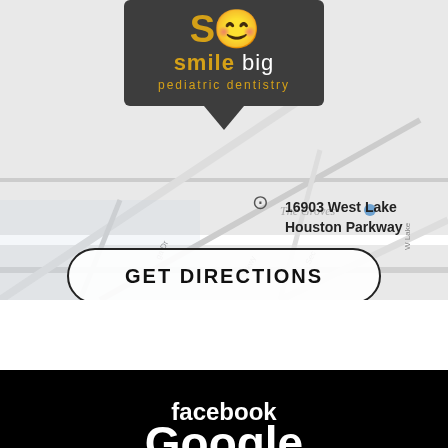[Figure (screenshot): Google Maps screenshot showing location of Smile Big Pediatric Dentistry at 16903 West Lake Houston Parkway, with map showing The Groves neighborhood and surrounding roads]
[Figure (logo): Smile Big Pediatric Dentistry logo in dark grey popup box with yellow/gold text]
16903 West Lake Houston Parkway
GET DIRECTIONS
THE GROVES
facebook
Google
yelp*
Home
Our Practice